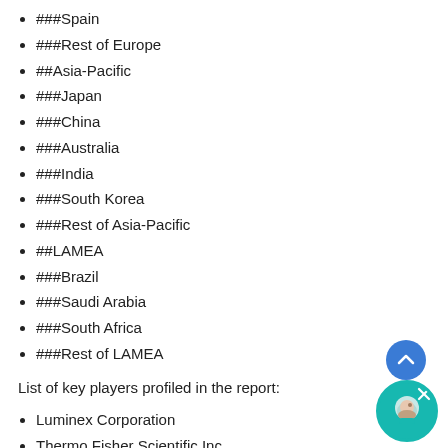###Spain
###Rest of Europe
##Asia-Pacific
###Japan
###China
###Australia
###India
###South Korea
###Rest of Asia-Pacific
##LAMEA
###Brazil
###Saudi Arabia
###South Africa
###Rest of LAMEA
List of key players profiled in the report:
Luminex Corporation
Thermo Fisher Scientific Inc.
Illumina Inc.
Bio-Rad Laboratories Inc.